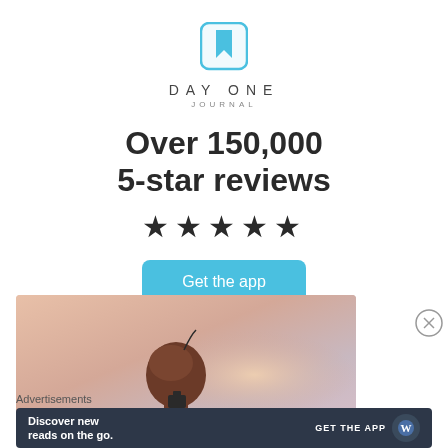[Figure (logo): Day One Journal logo: blue rounded square icon with bookmark/ribbon, with text DAY ONE and JOURNAL below]
Over 150,000 5-star reviews
★★★★★
Get the app
[Figure (photo): Person viewed from behind holding a camera, silhouetted against a warm sunset sky]
Advertisements
Discover new reads on the go. GET THE APP